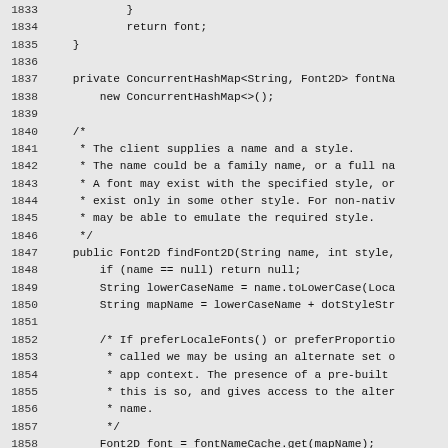[Figure (screenshot): Source code listing showing Java code lines 1833-1862, displaying methods including a private ConcurrentHashMap field declaration, a block comment describing font lookup behavior, and a public findFont2D method with local variable declarations and a cache lookup block.]